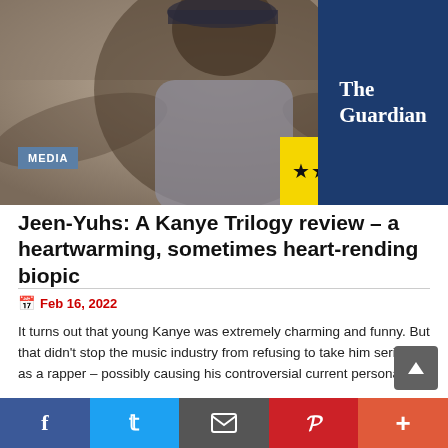[Figure (photo): Hero image of a young man (Kanye West) smiling with arms spread wide, wearing a grey hoodie and chain necklace. Overlaid with MEDIA badge, 4-star rating, and The Guardian logo.]
Jeen-Yuhs: A Kanye Trilogy review – a heartwarming, sometimes heart-rending biopic
Feb 16, 2022
It turns out that young Kanye was extremely charming and funny. But that didn't stop the music industry from refusing to take him seriously as a rapper – possibly causing his controversial current persona
READ MORE